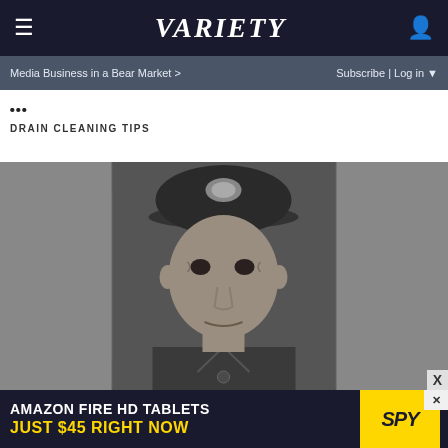≡  VARIETY  👤
Media Business in a Bear Market >   Subscribe | Log in ▼
DRAIN CLEANING TIPS
[Figure (photo): Black and white split photo: left side shows a Native American woman with long dark hair looking upward, wearing traditional patterned clothing; right side shows an older man wearing a military-style cap and uniform]
[Figure (advertisement): Amazon Fire HD Tablets advertisement: 'AMAZON FIRE HD TABLETS JUST $45 RIGHT NOW' with SPY logo on yellow background]